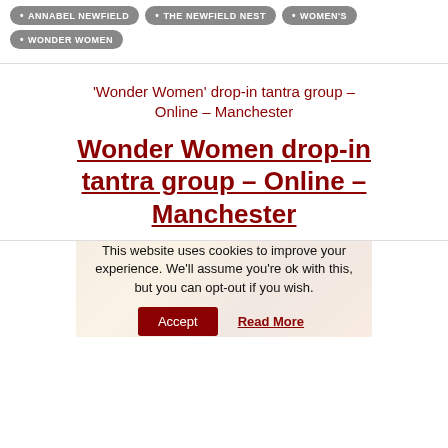ANNABEL NEWFIELD
THE NEWFIELD NEST
WOMEN'S
WONDER WOMEN
'Wonder Women' drop-in tantra group – Online – Manchester
Wonder Women drop-in tantra group – Online – Manchester
[Figure (photo): Group of women silhouetted against warm orange/red light, partially obscured by cookie consent banner]
This website uses cookies to improve your experience. We'll assume you're ok with this, but you can opt-out if you wish.